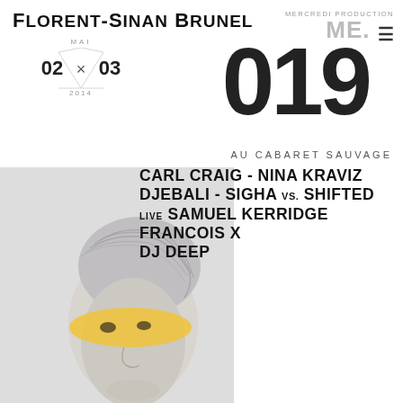FLORENT-SINAN BRUNEL
MERCREDI PRODUCTION ME.
MAI 02 × 03 2014
019
AU CABARET SAUVAGE
CARL CRAIG - NINA KRAVIZ
DJEBALI - SIGHA vs. SHIFTED
LIVE SAMUEL KERRIDGE
FRANCOIS X
DJ DEEP
[Figure (photo): White-painted female mannequin/model head with silver short hair and yellow eye mask/makeup band across eyes, against light grey background]